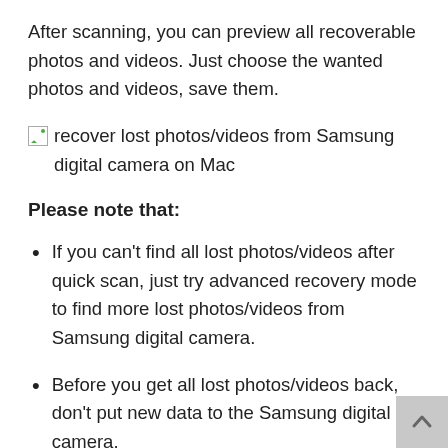After scanning, you can preview all recoverable photos and videos. Just choose the wanted photos and videos, save them.
[Figure (illustration): Broken image placeholder icon followed by alt text: recover lost photos/videos from Samsung digital camera on Mac]
Please note that:
If you can’t find all lost photos/videos after quick scan, just try advanced recovery mode to find more lost photos/videos from Samsung digital camera.
Before you get all lost photos/videos back, don’t put new data to the Samsung digital camera.